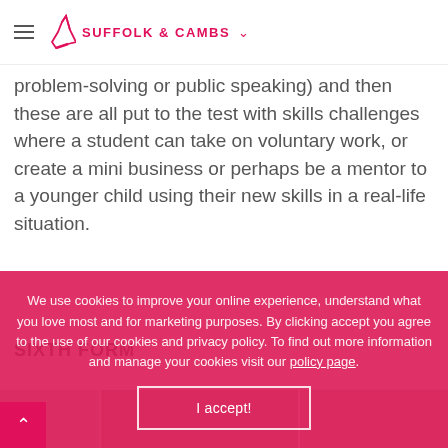SUFFOLK & CAMBS
problem-solving or public speaking) and then these are all put to the test with skills challenges where a student can take on voluntary work, or create a mini business or perhaps be a mentor to a younger child using their new skills in a real-life situation.
SIXTH FORM
[Figure (photo): Photo strip of sixth form students in a classroom setting, partially obscured by cookie consent overlay]
We use cookies to improve your online experience, understand what you love most and for marketing purposes. By clicking accept you agree to the use of our cookies and privacy policy. To find out more information and manage your cookies visit our policy page.
I accept!